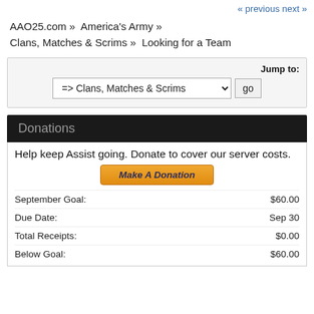« previous next »
AAO25.com » America's Army » Clans, Matches & Scrims » Looking for a Team
Jump to: => Clans, Matches & Scrims ▼  go
Donations
Help keep Assist going. Donate to cover our server costs.
Make A Donation
|  |  |
| --- | --- |
| September Goal: | $60.00 |
| Due Date: | Sep 30 |
| Total Receipts: | $0.00 |
| Below Goal: | $60.00 |